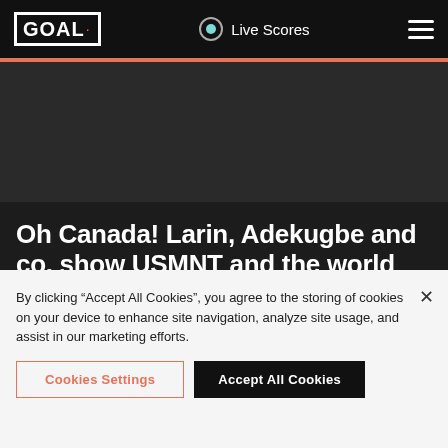GOAL · Live Scores
[Figure (photo): Dark hero image area (content not visible)]
Oh Canada! Larin, Adekugbe and co. show USMNT and the world they're for real
Ryan Tolmich
By clicking “Accept All Cookies”, you agree to the storing of cookies on your device to enhance site navigation, analyze site usage, and assist in our marketing efforts.
Cookies Settings | Accept All Cookies